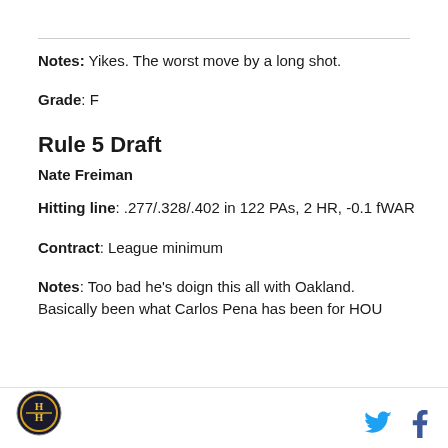Notes: Yikes. The worst move by a long shot.
Grade: F
Rule 5 Draft
Nate Freiman
Hitting line: .277/.328/.402 in 122 PAs, 2 HR, -0.1 fWAR
Contract: League minimum
Notes: Too bad he's doign this all with Oakland. Basically been what Carlos Pena has been for HOU